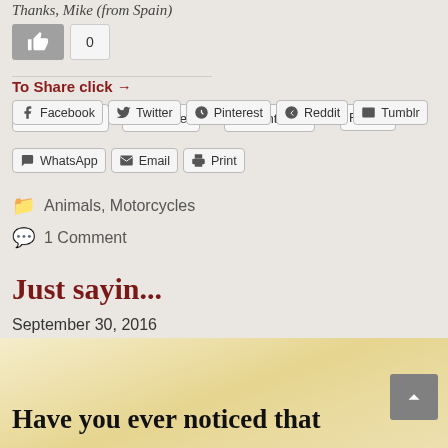Thanks, Mike (from Spain)
To Share click →
Facebook
Twitter
Pinterest
Reddit
Tumblr
WhatsApp
Email
Print
Animals, Motorcycles
1 Comment
Just sayin...
September 30, 2016
Have you ever noticed that